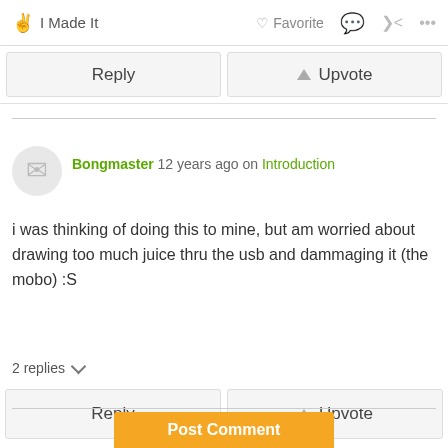I Made It  Favorite  …
Reply   Upvote
Bongmaster 12 years ago on Introduction
i was thinking of doing this to mine, but am worried about drawing too much juice thru the usb and dammaging it (the mobo) :S
2 replies
Reply   Upvote
Post Comment